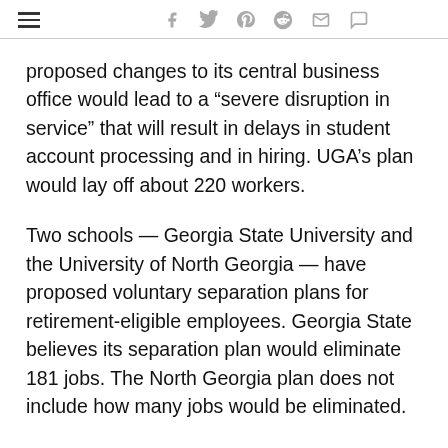Navigation and social share icons (hamburger menu, facebook, twitter, pinterest, reddit, email, comment)
proposed changes to its central business office would lead to a “severe disruption in service” that will result in delays in student account processing and in hiring. UGA’s plan would lay off about 220 workers.
Two schools — Georgia State University and the University of North Georgia — have proposed voluntary separation plans for retirement-eligible employees. Georgia State believes its separation plan would eliminate 181 jobs. The North Georgia plan does not include how many jobs would be eliminated.
The budget plan includes a proposal